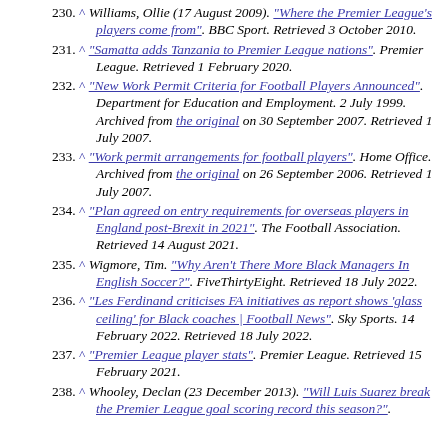230. ^ Williams, Ollie (17 August 2009). "Where the Premier League's players come from". BBC Sport. Retrieved 3 October 2010.
231. ^ "Samatta adds Tanzania to Premier League nations". Premier League. Retrieved 1 February 2020.
232. ^ "New Work Permit Criteria for Football Players Announced". Department for Education and Employment. 2 July 1999. Archived from the original on 30 September 2007. Retrieved 1 July 2007.
233. ^ "Work permit arrangements for football players". Home Office. Archived from the original on 26 September 2006. Retrieved 1 July 2007.
234. ^ "Plan agreed on entry requirements for overseas players in England post-Brexit in 2021". The Football Association. Retrieved 14 August 2021.
235. ^ Wigmore, Tim. "Why Aren't There More Black Managers In English Soccer?". FiveThirtyEight. Retrieved 18 July 2022.
236. ^ "Les Ferdinand criticises FA initiatives as report shows 'glass ceiling' for Black coaches | Football News". Sky Sports. 14 February 2022. Retrieved 18 July 2022.
237. ^ "Premier League player stats". Premier League. Retrieved 15 February 2021.
238. ^ Whooley, Declan (23 December 2013). "Will Luis Suarez break the Premier League goal scoring record this season?".